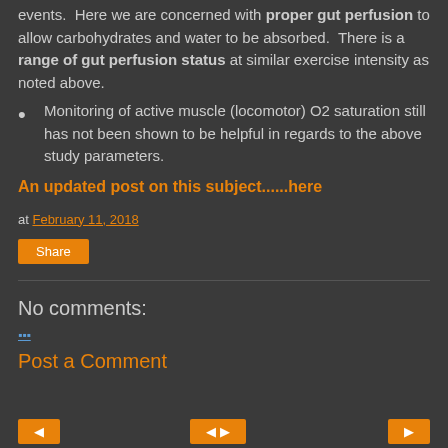events.  Here we are concerned with proper gut perfusion to allow carbohydrates and water to be absorbed.  There is a range of gut perfusion status at similar exercise intensity as noted above.
Monitoring of active muscle (locomotor) O2 saturation still has not been shown to be helpful in regards to the above study parameters.
An updated post on this subject......here
at February 11, 2018
Share
No comments:
Post a Comment